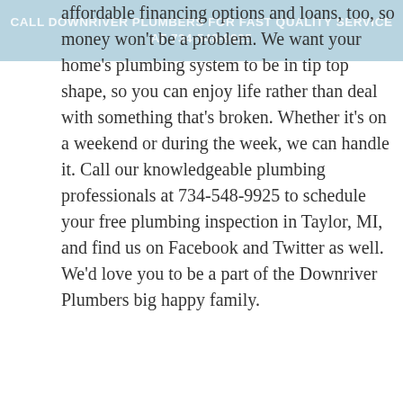CALL DOWNRIVER PLUMBERS FOR FAST QUALITY SERVICE AT 734-548-9925
affordable financing options and loans, too, so money won't be a problem. We want your home's plumbing system to be in tip top shape, so you can enjoy life rather than deal with something that's broken. Whether it's on a weekend or during the week, we can handle it. Call our knowledgeable plumbing professionals at 734-548-9925 to schedule your free plumbing inspection in Taylor, MI, and find us on Facebook and Twitter as well. We'd love you to be a part of the Downriver Plumbers big happy family.